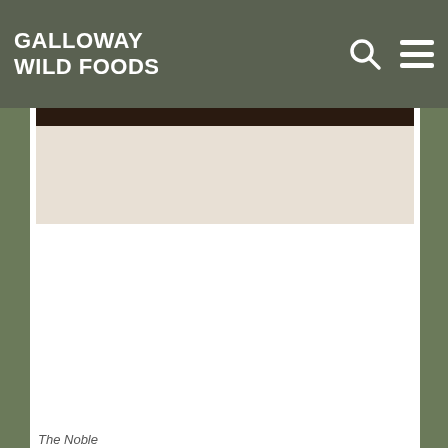GALLOWAY WILD FOODS
[Figure (photo): Partial photo of what appears to be a Christmas tree or foliage, partially visible at top of content area with dark top and cream/light bottom]
The Noble
There's a good chance your christmas tree is a noble